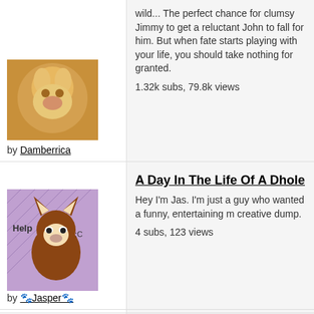wild... The perfect chance for clumsy Jimmy to get a reluctant John to fall for him. But when fate starts playing with your life, you should take nothing for granted.
1.32k subs, 79.8k views
by Damberrica
[Figure (illustration): Cartoon animal character illustration with purple/pink diamond background, brown fox-like animal with white markings, text 'Help' on left]
A Day In The Life Of A Dhole
Hey I'm Jas. I'm just a guy who wanted a funny, entertaining m creative dump.
4 subs, 123 views
by 🐾Jasper🐾
[Figure (illustration): Cartoon chibi girl with orange/red color scheme, wearing a pink shirt and orange skirt, waving hand]
A Day in The--?!
Life of me! A series of musings and vignettes spanning various genres. Reads L to R. This is a project to prepare me for L+T, my other series.
22 subs, 758 views
by Bunny
[Figure (illustration): Cartoon animal character with brown/golden fur and hair]
A Day with Jay